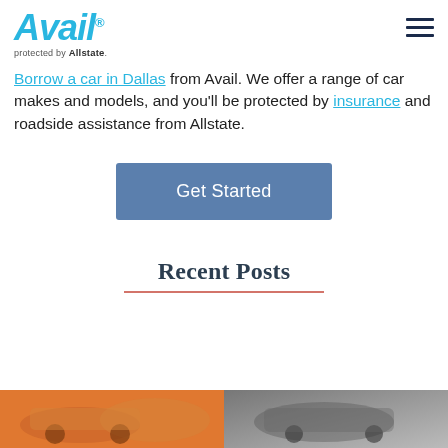Avail protected by Allstate
Borrow a car in Dallas from Avail. We offer a range of car makes and models, and you'll be protected by insurance and roadside assistance from Allstate.
[Figure (other): Get Started button - blue rectangular button with white text]
Recent Posts
[Figure (photo): Two photo thumbnails side by side at the bottom of the page showing car-related imagery]